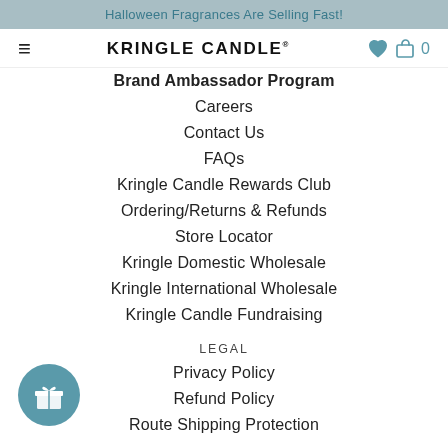Halloween Fragrances Are Selling Fast!
[Figure (logo): Kringle Candle logo with hamburger menu icon on left and heart/cart icons on right]
Brand Ambassador Program
Careers
Contact Us
FAQs
Kringle Candle Rewards Club
Ordering/Returns & Refunds
Store Locator
Kringle Domestic Wholesale
Kringle International Wholesale
Kringle Candle Fundraising
LEGAL
Privacy Policy
Refund Policy
Route Shipping Protection
[Figure (illustration): Teal circular gift/rewards button icon in bottom left corner]